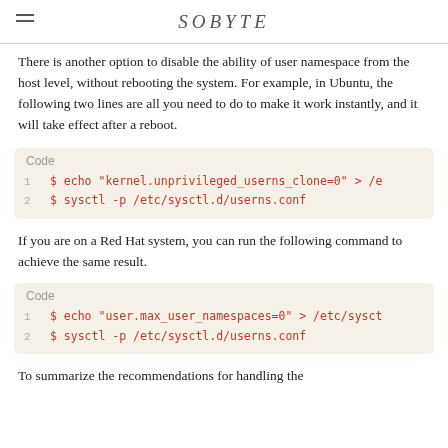SOBYTE
There is another option to disable the ability of user namespace from the host level, without rebooting the system. For example, in Ubuntu, the following two lines are all you need to do to make it work instantly, and it will take effect after a reboot.
Code
1   $ echo "kernel.unprivileged_userns_clone=0" > /e
2   $ sysctl -p /etc/sysctl.d/userns.conf
If you are on a Red Hat system, you can run the following command to achieve the same result.
Code
1   $ echo "user.max_user_namespaces=0" > /etc/sysct
2   $ sysctl -p /etc/sysctl.d/userns.conf
To summarize the recommendations for handling the